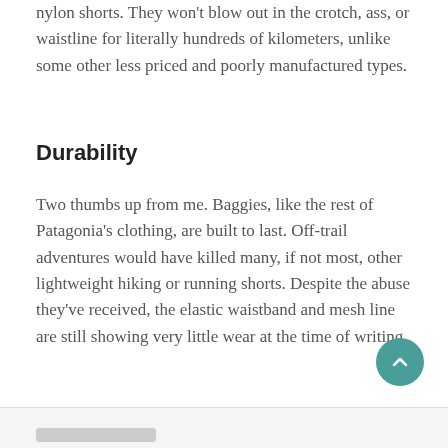nylon shorts. They won't blow out in the crotch, ass, or waistline for literally hundreds of kilometers, unlike some other less priced and poorly manufactured types.
Durability
Two thumbs up from me. Baggies, like the rest of Patagonia's clothing, are built to last. Off-trail adventures would have killed many, if not most, other lightweight hiking or running shorts. Despite the abuse they've received, the elastic waistband and mesh line are still showing very little wear at the time of writing.